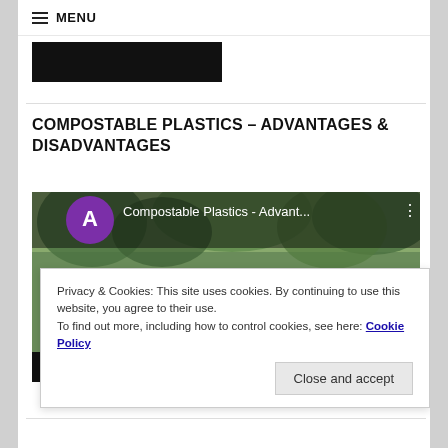≡ MENU
[Figure (other): Black redacted/blurred image block]
COMPOSTABLE PLASTICS – ADVANTAGES & DISADVANTAGES
[Figure (screenshot): Video thumbnail showing a person outdoors with trees, with a purple circle avatar showing letter A and text 'Compostable Plastics - Advant...' and a video progress bar showing 00:00 / 05:58]
Privacy & Cookies: This site uses cookies. By continuing to use this website, you agree to their use.
To find out more, including how to control cookies, see here: Cookie Policy
Close and accept